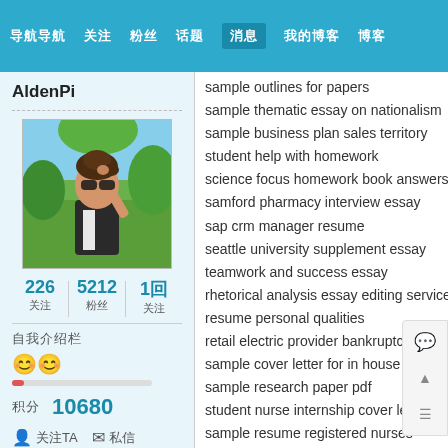导航 关注 粉丝 话题 消息 我的博客 博客
AldenPi
[Figure (photo): Profile photo of a young woman with sunglasses and an updo hairstyle, wearing a dark off-shoulder top, standing outdoors with green trees in background]
226 关注  5212 粉丝  1回 关注
自我介绍栏
😊😊
积分 10680
sample outlines for papers
sample thematic essay on nationalism
sample business plan sales territory
student help with homework
science focus homework book answers
samford pharmacy interview essay
sap crm manager resume
seattle university supplement essay
teamwork and success essay
rhetorical analysis essay editing service
resume personal qualities
retail electric provider bankruptcies essa
sample cover letter for in house counsel
sample research paper pdf
student nurse internship cover letter
sample resume registered nurses
smoking ban thesis
sample cover letter for sql dba position
senior database analyst resume
terminator sarah connor chronicles hd wallpaper
resume script shell sql udb unix
resume mistakes objective
sample student essays on theme
template to create resume
sales leader resume sample